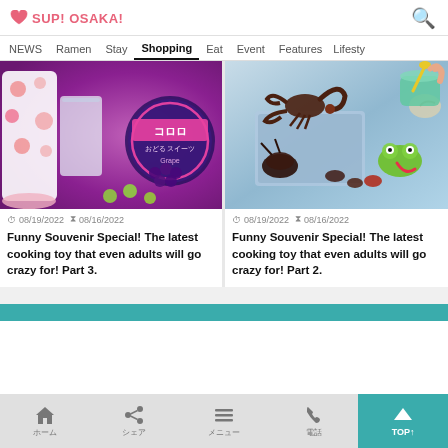SUP! OSAKA!
NEWS  Ramen  Stay  Shopping  Eat  Event  Features  Lifesty
[Figure (photo): Left article thumbnail: colorful candy/grape themed product image with pink polka dot background, Japanese text コロロ and grape candy]
08/19/2022  08/16/2022
Funny Souvenir Special! The latest cooking toy that even adults will go crazy for! Part 3.
[Figure (photo): Right article thumbnail: toy insects set including scorpion, beetle, frog figures with cooking toy accessories on blue background]
08/19/2022  08/16/2022
Funny Souvenir Special! The latest cooking toy that even adults will go crazy for! Part 2.
ホーム  シェア  メニュー  電話  TOP↑